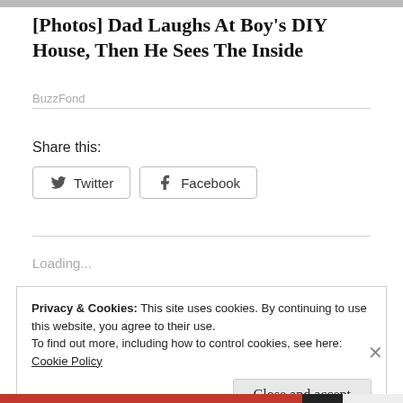[Photos] Dad Laughs At Boy's DIY House, Then He Sees The Inside
BuzzFond
Share this:
Loading...
Privacy & Cookies: This site uses cookies. By continuing to use this website, you agree to their use.
To find out more, including how to control cookies, see here:
Cookie Policy